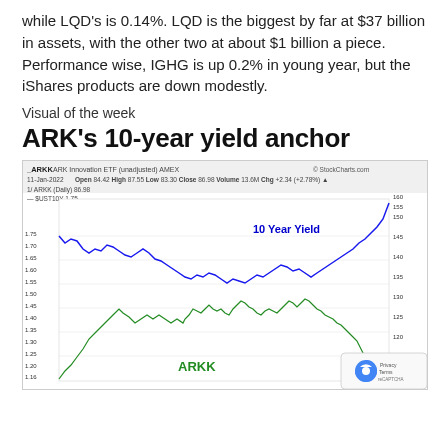while LQD's is 0.14%. LQD is the biggest by far at $37 billion in assets, with the other two at about $1 billion a piece. Performance wise, IGHG is up 0.2% in young year, but the iShares products are down modestly.
Visual of the week
ARK's 10-year yield anchor
[Figure (continuous-plot): Stock chart showing ARKK ARK Innovation ETF (unadjusted) AMEX overlaid with the 10-Year US Treasury Yield. Date: 11-Jan-2022. Open 84.42 High 87.55 Low 83.30 Close 86.98 Volume 13.6M Chg +2.34 (+2.78%). The blue line represents the 10 Year Yield (labeled in blue), ranging approximately 1.16 to 1.75 on the left axis and 110 to 160 on the right axis. The green line represents ARKK (labeled in green), showing price action. Source: StockCharts.com. A reCAPTCHA badge is visible in the bottom-right corner.]